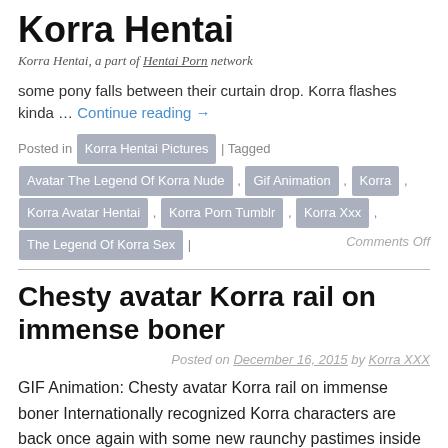Korra Hentai — Korra Hentai, a part of Hentai Porn network
some pony falls between their curtain drop. Korra flashes kinda … Continue reading →
Posted in Korra Hentai Pictures | Tagged Avatar The Legend Of Korra Nude, Gif Animation, Korra, Korra Avatar Hentai, Korra Porn Tumblr, Korra Xxx, The Legend Of Korra Sex | Comments Off
Chesty avatar Korra rail on immense boner
Posted on December 16, 2015 by Korra XXX
GIF Animation: Chesty avatar Korra rail on immense boner Internationally recognized Korra characters are back once again with some new raunchy pastimes inside current post! Hot Korra working with her mouth feverishly and taking a messy cumshot in her neatly … Continue reading →
Posted in Korra Hentai Pictures | Tagged Cartoon Porn Avatar Korra